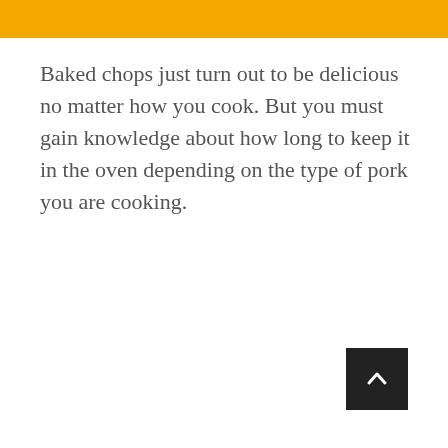Baked chops just turn out to be delicious no matter how you cook. But you must gain knowledge about how long to keep it in the oven depending on the type of pork you are cooking.